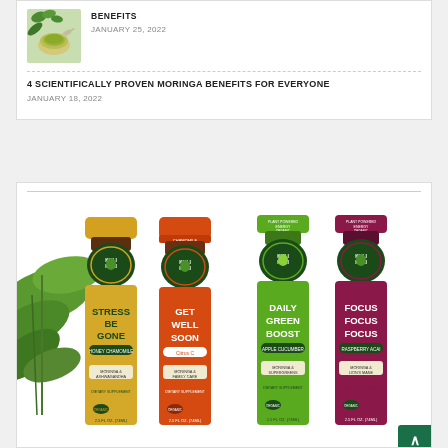[Figure (photo): Small thumbnail photo of matcha/moringa green powder in a bowl with green leaves]
BENEFITS
JANUARY 25, 2022
4 SCIENTIFICALLY PROVEN MORINGA BENEFITS FOR EVERYONE
JANUARY 18, 2022
[Figure (photo): Four Kuli Kuli shot bottles: Stress Be Gone (Honey Chamomile, yellow), Get Well Soon (Citrus C, orange), Daily Green Boost (Apple Cucumber, green), Focus Focus Focus (Raspberry Acai, purple/maroon). Each labeled MORINGA & respective blend, Dietary Supplement, 2.5 FL OZ (74mL), ORGANIC, Plant Powered Energy.]